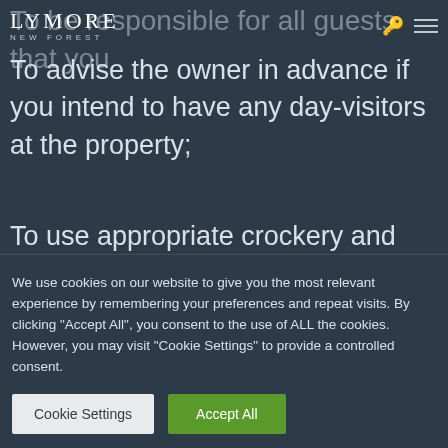LYMORE NEW FOREST
To be responsible for all guests that you
To advise the owner in advance if you intend to have any day-visitors at the property;
To use appropriate crockery and glassware depending upon where you choose to eat and drink in the property; this is of
We use cookies on our website to give you the most relevant experience by remembering your preferences and repeat visits. By clicking "Accept All", you consent to the use of ALL the cookies. However, you may visit "Cookie Settings" to provide a controlled consent.
Cookie Settings
Accept All